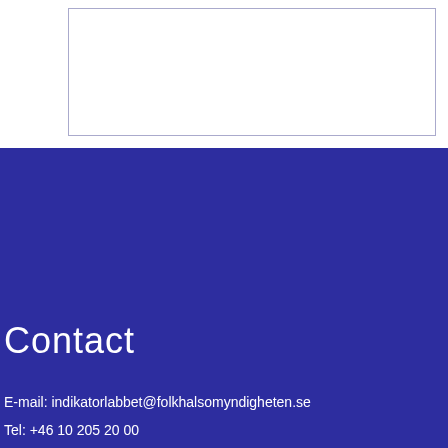[Figure (other): Empty bordered table/box placeholder at top of page]
Contact
E-mail: indikatorlabbet@folkhalsomyndigheten.se
Tel: +46 10 205 20 00
wwww.folkhalsomyndigheten.se
[Figure (logo): Folkhälsomyndigheten logo — crown above interlocked clover/heart emblem with text Folkhälsomyndigheten and PUBLIC HEALTH AGENCY OF SWEDEN]